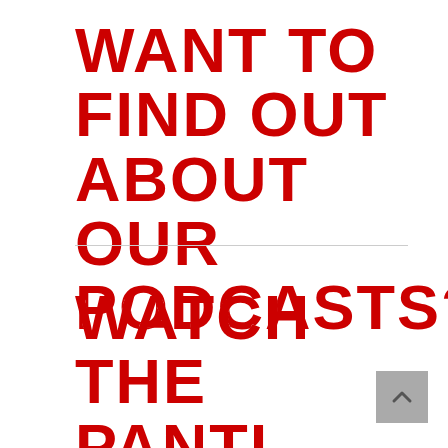WANT TO FIND OUT ABOUT OUR PODCASTS?
WATCH THE PANTI PERSONALS